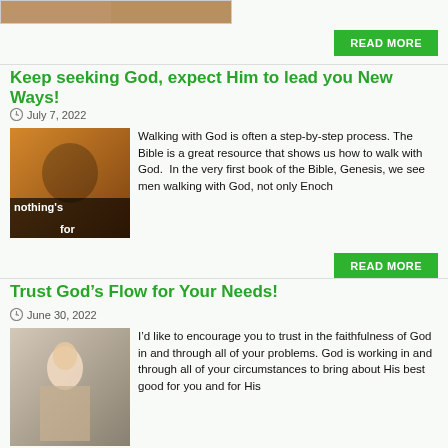[Figure (photo): Partial view of an image at the top of the page]
READ MORE
Keep seeking God, expect Him to lead you New Ways!
July 7, 2022
[Figure (photo): Book cover or image with text 'nothing's for']
Walking with God is often a step-by-step process. The Bible is a great resource that shows us how to walk with God.  In the very first book of the Bible, Genesis, we see men walking with God, not only Enoch
READ MORE
Trust God’s Flow for Your Needs!
June 30, 2022
[Figure (photo): Photo of a person in winter clothing]
I’d like to encourage you to trust in the faithfulness of God in and through all of your problems. God is working in and through all of your circumstances to bring about His best good for you and for His